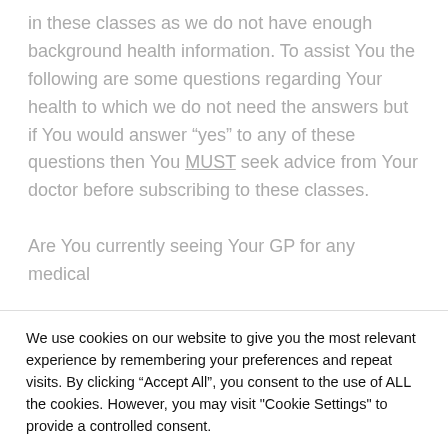in these classes as we do not have enough background health information. To assist You the following are some questions regarding Your health to which we do not need the answers but if You would answer “yes” to any of these questions then You MUST seek advice from Your doctor before subscribing to these classes.
Are You currently seeing Your GP for any medical
We use cookies on our website to give you the most relevant experience by remembering your preferences and repeat visits. By clicking “Accept All”, you consent to the use of ALL the cookies. However, you may visit "Cookie Settings" to provide a controlled consent.